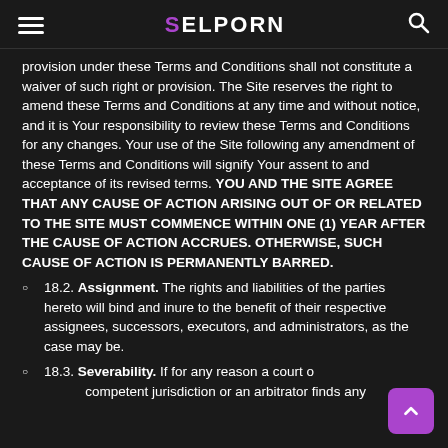SELPORN
provision under these Terms and Conditions shall not constitute a waiver of such right or provision. The Site reserves the right to amend these Terms and Conditions at any time and without notice, and it is Your responsibility to review these Terms and Conditions for any changes. Your use of the Site following any amendment of these Terms and Conditions will signify Your assent to and acceptance of its revised terms. YOU AND THE SITE AGREE THAT ANY CAUSE OF ACTION ARISING OUT OF OR RELATED TO THE SITE MUST COMMENCE WITHIN ONE (1) YEAR AFTER THE CAUSE OF ACTION ACCRUES. OTHERWISE, SUCH CAUSE OF ACTION IS PERMANENTLY BARRED.
18.2. Assignment. The rights and liabilities of the parties hereto will bind and inure to the benefit of their respective assignees, successors, executors, and administrators, as the case may be.
18.3. Severability. If for any reason a court of competent jurisdiction or an arbitrator finds any